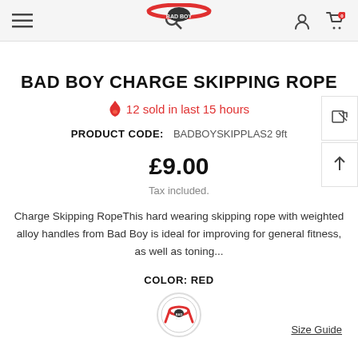Bad Boy website header with menu, search, account and cart icons
BAD BOY CHARGE SKIPPING ROPE
🔥 12 sold in last 15 hours
PRODUCT CODE: BADBOYSKIPPLAS2 9ft
£9.00
Tax included.
Charge Skipping RopeThis hard wearing skipping rope with weighted alloy handles from Bad Boy is ideal for improving for general fitness, as well as toning...
COLOR: RED
[Figure (photo): Red color swatch with Bad Boy logo skipping rope icon]
Size Guide